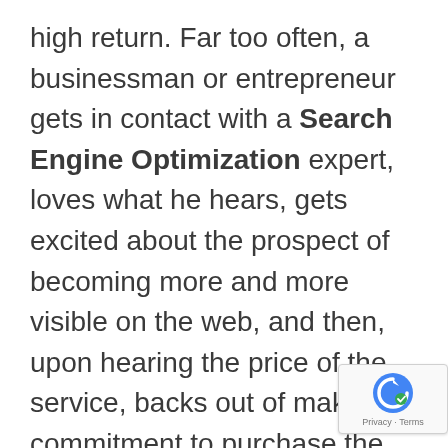high return. Far too often, a businessman or entrepreneur gets in contact with a Search Engine Optimization expert, loves what he hears, gets excited about the prospect of becoming more and more visible on the web, and then, upon hearing the price of the service, backs out of making a commitment to purchase the service altogether. Why is that? What happens all of a sudden? One moment he is imagining himself leaving all his competitors in the dust, thanks to being number one on search engine results
[Figure (other): reCAPTCHA badge with Privacy and Terms links]